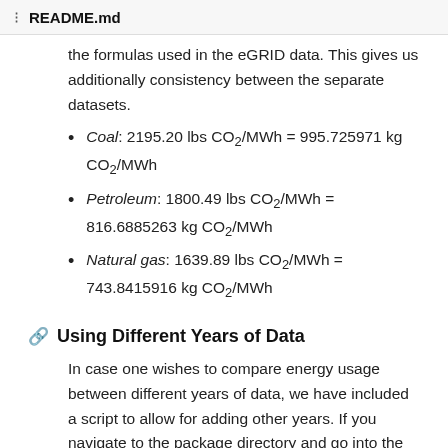README.md
the formulas used in the eGRID data. This gives us additionally consistency between the separate datasets.
Coal: 2195.20 lbs CO2/MWh = 995.725971 kg CO2/MWh
Petroleum: 1800.49 lbs CO2/MWh = 816.6885263 kg CO2/MWh
Natural gas: 1639.89 lbs CO2/MWh = 743.8415916 kg CO2/MWh
Using Different Years of Data
In case one wishes to compare energy usage between different years of data, we have included a script to allow for adding other years. If you navigate to the package directory and go into the data folder, you can use raw_to_json.py. First, you need to